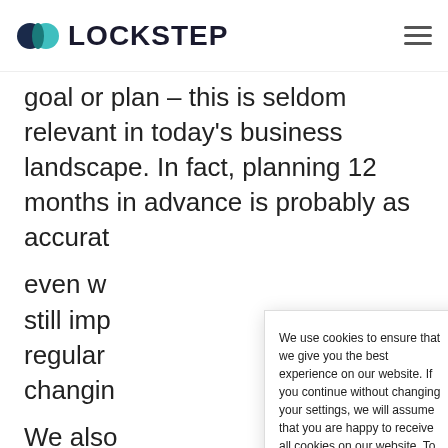LOCKSTEP
goal or plan – this is seldom relevant in today's business landscape. In fact, planning 12 months in advance is probably as accurat
even w still imp regular changin
We also has two the bus other involves people. Both need
We use cookies to ensure that we give you the best experience on our website. If you continue without changing your settings, we will assume that you are happy to receive all cookies on our website. To find out more, visit our Privacy Policy.
Cookie Settings | Accept All